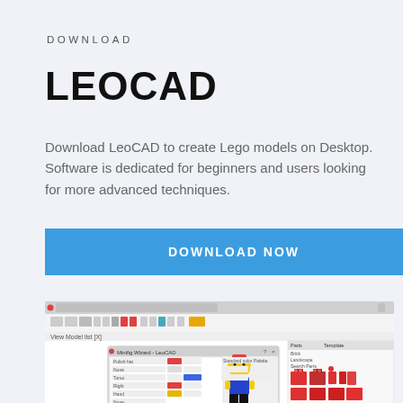DOWNLOAD
LEOCAD
Download LeoCAD to create Lego models on Desktop. Software is dedicated for beginners and users looking for more advanced techniques.
DOWNLOAD NOW
[Figure (screenshot): Screenshot of the LeoCAD desktop application showing a LEGO minifigure in the editor with a minifig wizard dialog open and a parts panel on the right side.]